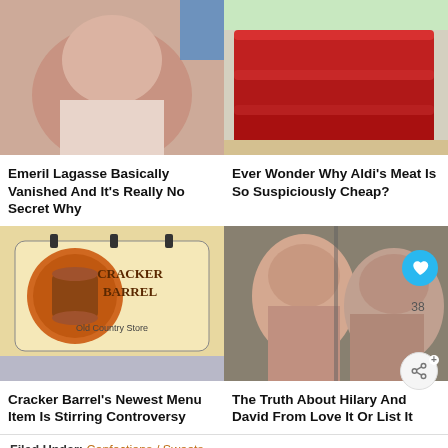[Figure (photo): Close-up photo of Emeril Lagasse's face]
[Figure (photo): Photo of raw red meat slices on a cutting board]
Emeril Lagasse Basically Vanished And It's Really No Secret Why
Ever Wonder Why Aldi's Meat Is So Suspiciously Cheap?
[Figure (photo): Photo of Cracker Barrel Old Country Store sign]
[Figure (photo): Photo of Hilary and David from Love It Or List It]
Cracker Barrel's Newest Menu Item Is Stirring Controversy
The Truth About Hilary And David From Love It Or List It
Filed Under: Confections / Sweets
Tagged With: candy, lemon, sugar, sweet